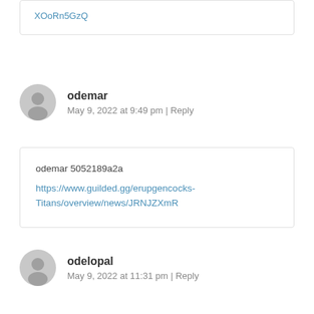XOoRn5GzQ
odemar
May 9, 2022 at 9:49 pm | Reply
odemar 5052189a2a
https://www.guilded.gg/erupgencocks-Titans/overview/news/JRNJZXmR
odelopal
May 9, 2022 at 11:31 pm | Reply